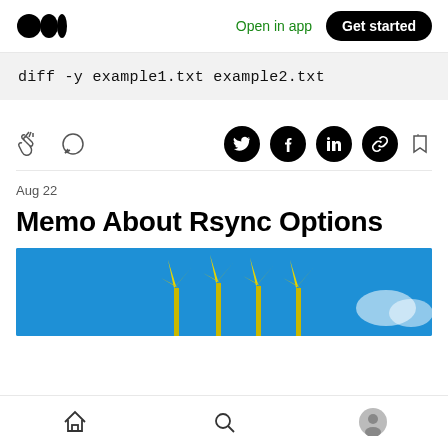Medium logo | Open in app | Get started
diff -y example1.txt example2.txt
[Figure (other): Social action bar with clap, comment, Twitter, Facebook, LinkedIn, link, and bookmark icons]
Aug 22
Memo About Rsync Options
[Figure (photo): Photo of wind turbines against a blue sky, partially visible]
Bottom navigation bar with home, search, and profile icons